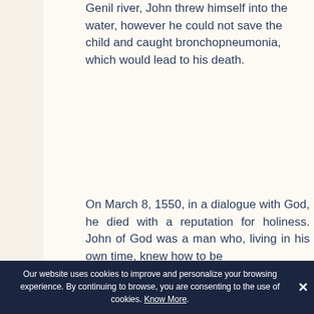Genil river, John threw himself into the water, however he could not save the child and caught bronchopneumonia, which would lead to his death.
On March 8, 1550, in a dialogue with God, he died with a reputation for holiness. John of God was a man who, living in his own time, knew how to be...
Our website uses cookies to improve and personalize your browsing experience. By continuing to browse, you are consenting to the use of cookies. Know More.